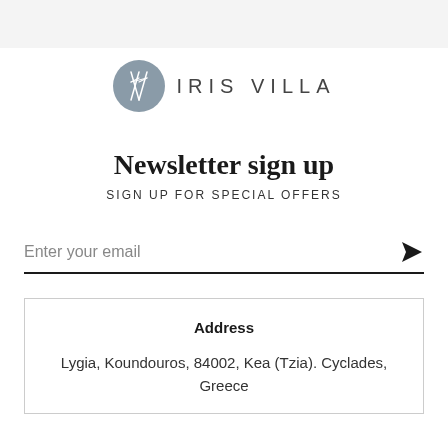[Figure (logo): Iris Villa logo: gray circle with crossed utensils/arrows icon, followed by 'IRIS VILLA' text in spaced sans-serif capitals]
Newsletter sign up
SIGN UP FOR SPECIAL OFFERS
Enter your email
Address
Lygia, Koundouros, 84002, Kea (Tzia). Cyclades, Greece